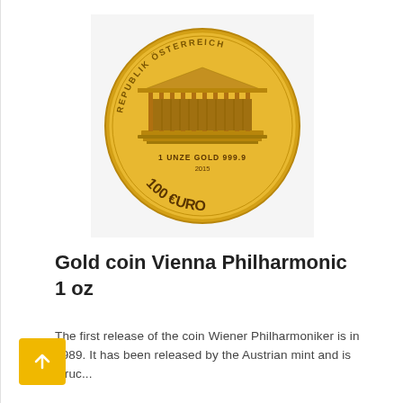[Figure (photo): Gold coin Vienna Philharmonic 1 oz — shows the Musikverein organ facade with text REPUBLIK ÖSTERREICH around the top, and 1 UNZE GOLD 999.9, 2015, 100 EURO at the bottom]
Gold coin Vienna Philharmonic 1 oz
The first release of the coin Wiener Philharmoniker is in 1989. It has been released by the Austrian mint and is struc...